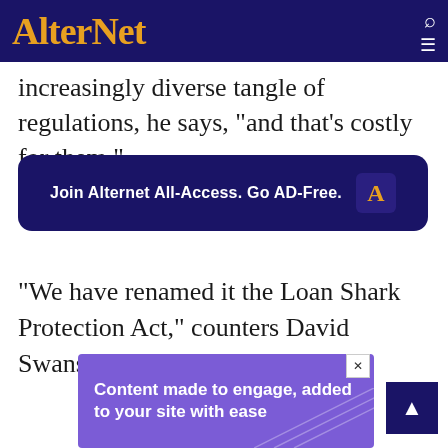AlterNet
increasingly diverse tangle of regulations, he says, "and that's costly for them."
[Figure (other): Join Alternet All-Access. Go AD-Free. promotional banner with AlterNet logo]
"We have renamed it the Loan Shark Protection Act," counters David Swanson, an ACORN spokesman.
[Figure (other): Advertisement: Content made to engage, added to your site with ease]